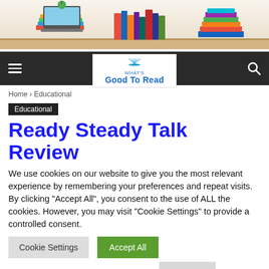[Figure (illustration): Website banner showing stacks of books and a laptop on a wooden shelf with a green apple]
[Figure (logo): What's Good To Read logo with open book icon and blue text on white background in navigation bar]
Home › Educational
Educational
Ready Steady Talk Review
We use cookies on our website to give you the most relevant experience by remembering your preferences and repeat visits. By clicking "Accept All", you consent to the use of ALL the cookies. However, you may visit "Cookie Settings" to provide a controlled consent.
Cookie Settings | Accept All | Read More | Reject All